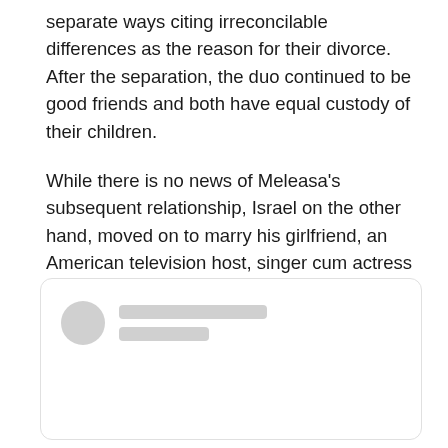separate ways citing irreconcilable differences as the reason for their divorce. After the separation, the duo continued to be good friends and both have equal custody of their children.

While there is no news of Meleasa's subsequent relationship, Israel on the other hand, moved on to marry his girlfriend, an American television host, singer cum actress named Adrienne Eliza Bailon.
[Figure (other): A blurred/redacted social media post card with a circular avatar placeholder and two grey rectangular lines representing a username and handle.]